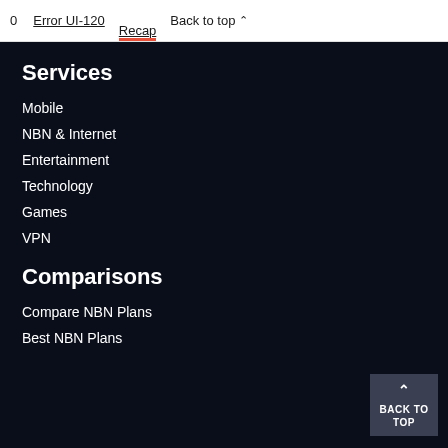0   Error UI-120   Recap   Back to top
Services
Mobile
NBN & Internet
Entertainment
Technology
Games
VPN
Comparisons
Compare NBN Plans
Best NBN Plans